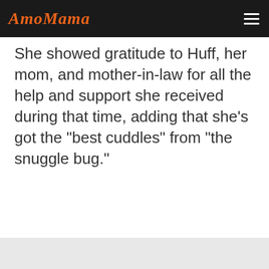AmoMama
She showed gratitude to Huff, her mom, and mother-in-law for all the help and support she received during that time, adding that she’s got the “best cuddles” from “the snuggle bug.”